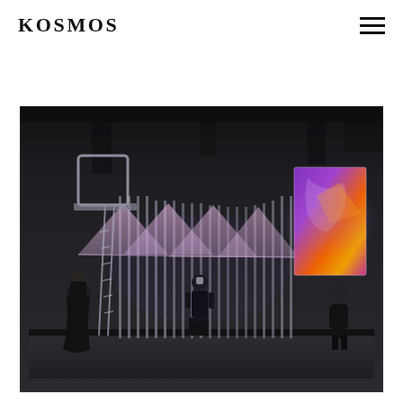KOSMOS
[Figure (photo): A dark exhibition or stage installation showing a moody space with tall vertical poles/columns arranged in a grid, translucent triangular canopy forms with pink/lavender hues stretched between the poles, a glowing colorful screen (purple, orange, yellow) on the right side, a metal frame structure with a ladder on the left, and three human figures dressed in black standing in and around the installation. The ceiling is dark with visible beams. The overall atmosphere is dramatic and theatrical.]